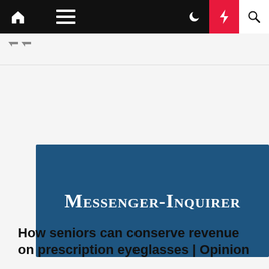Messenger-Inquirer navigation bar
[Figure (logo): Messenger-Inquirer newspaper logo on dark blue background]
Eyes Vision
How seniors can conserve revenue on prescription eyeglasses | Opinion